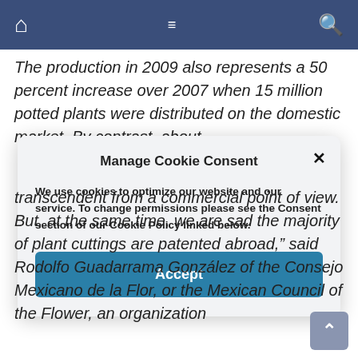[Navigation bar with home, menu, and search icons]
The production in 2009 also represents a 50 percent increase over 2007 when 15 million potted plants were distributed on the domestic market. By contrast, about
Manage Cookie Consent
We use cookies to optimize our website and our service. To change permissions please see the Consent section of our Cookie Policy linked below.
Accept
transcendent from a commercial point of view. But, at the same time, we are sad the majority of plant cuttings are patented abroad," said Rodolfo Guadarrama González of the Consejo Mexicano de la Flor, or the Mexican Council of the Flower, an organization